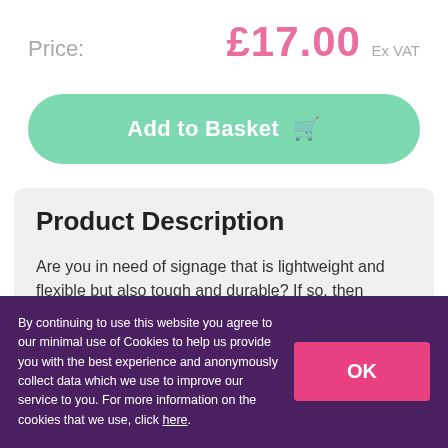Price: £17.00 Ex VAT
Add to Basket 🛒
Product Description
Are you in need of signage that is lightweight and flexible but also tough and durable? If so, then Correx signs are the answer!
By continuing to use this website you agree to our minimal use of Cookies to help us provide you with the best experience and anonymously collect data which we use to improve our service to you. For more information on the cookies that we use, click here.